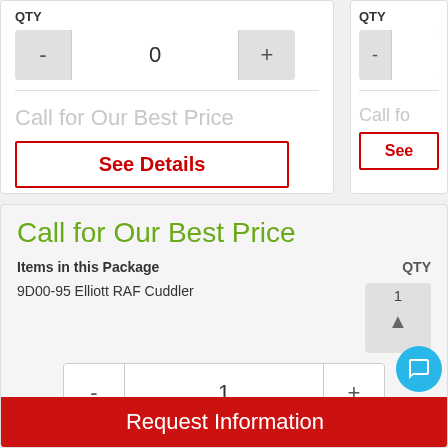QTY
0
Call for Our Best Price
See Details
QTY
Call for Our Best Price
See
Call for Our Best Price
Items in this Package
QTY
9D00-95 Elliott RAF Cuddler
1
1
Request Information